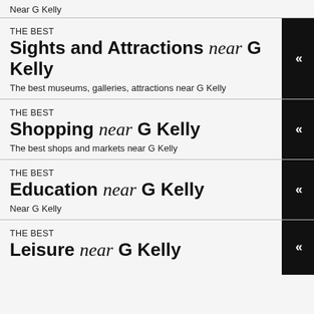Near G Kelly
THE BEST
Sights and Attractions near G Kelly
The best museums, galleries, attractions near G Kelly
THE BEST
Shopping near G Kelly
The best shops and markets near G Kelly
THE BEST
Education near G Kelly
Near G Kelly
THE BEST
Leisure near G Kelly